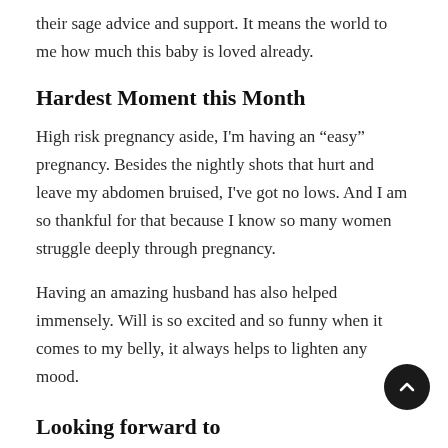their sage advice and support. It means the world to me how much this baby is loved already.
Hardest Moment this Month
High risk pregnancy aside, I'm having an “easy” pregnancy. Besides the nightly shots that hurt and leave my abdomen bruised, I've got no lows. And I am so thankful for that because I know so many women struggle deeply through pregnancy.
Having an amazing husband has also helped immensely. Will is so excited and so funny when it comes to my belly, it always helps to lighten any mood.
Looking forward to